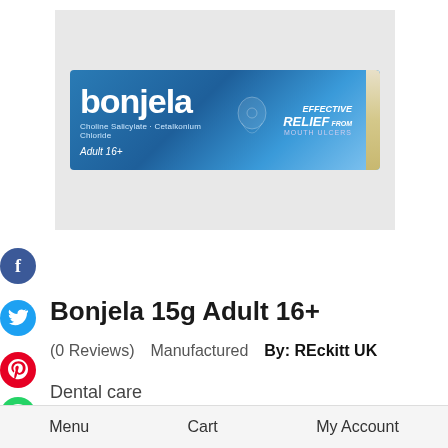[Figure (photo): Bonjela 15g Adult 16+ product box — blue tube packaging with 'bonjela' brand name, 'Choline Salicylate · Cetalkonium Chloride', 'EFFECTIVE RELIEF from MOUTH ULCERS', 'Adult 16+' on a gray background]
Bonjela 15g Adult 16+
(0 Reviews)   Manufactured   By: REckitt UK
Dental care
Bonjela Adult Oral Pain Relief Gel provides effective...
Menu   Cart   My Account